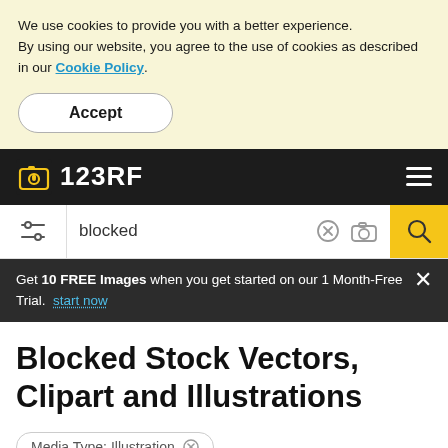We use cookies to provide you with a better experience. By using our website, you agree to the use of cookies as described in our Cookie Policy.
Accept
123RF
blocked
Get 10 FREE Images when you get started on our 1 Month-Free Trial. start now
Blocked Stock Vectors, Clipart and Illustrations